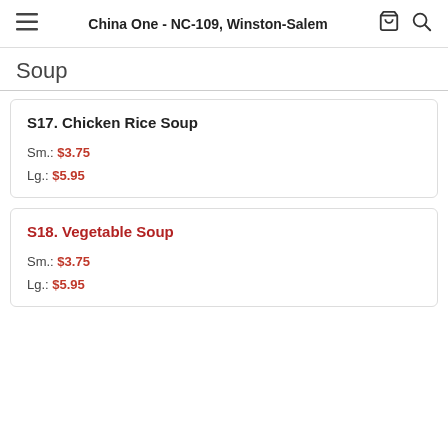China One - NC-109, Winston-Salem
Soup
S17. Chicken Rice Soup
Sm.: $3.75
Lg.: $5.95
S18. Vegetable Soup
Sm.: $3.75
Lg.: $5.95